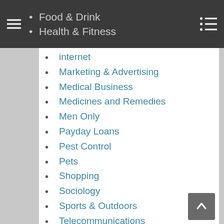Food & Drink | Health & Fitness
internet
Marketing & Advertising
Medical Business
Medicines and Remedies
Men Only
Payday Loans
Pest Control
Pets
Shopping
Sociology
Sports & Outdoors
Telecommunications
Uncategorized
Virtual Offices
VOIP
Web Design
Weight Loss
Workplace Safety